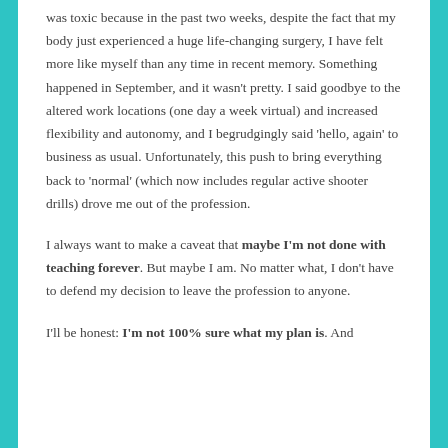was toxic because in the past two weeks, despite the fact that my body just experienced a huge life-changing surgery, I have felt more like myself than any time in recent memory. Something happened in September, and it wasn't pretty. I said goodbye to the altered work locations (one day a week virtual) and increased flexibility and autonomy, and I begrudgingly said 'hello, again' to business as usual. Unfortunately, this push to bring everything back to 'normal' (which now includes regular active shooter drills) drove me out of the profession.
I always want to make a caveat that maybe I'm not done with teaching forever. But maybe I am. No matter what, I don't have to defend my decision to leave the profession to anyone.
I'll be honest: I'm not 100% sure what my plan is. And